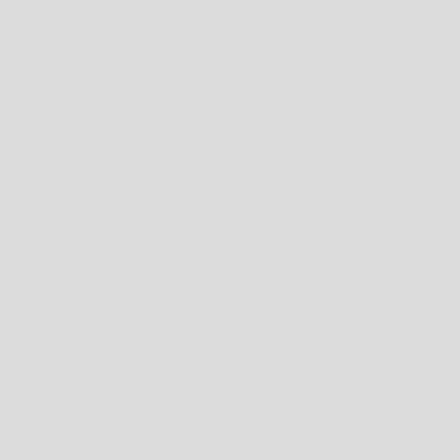50px]]
Stabilizer|60px]]
|stock_CPU_MOD_01 = [[File:ProtonWall_Icon.png|link=Proton Wall System|50px]]
|stock_CAPACITOR_MOD_01 = [[File:EmergencyBarrier Icon.png |link=Emergency Barrier|60px]]
|stock_SHIELD_MOD_01 = [[File:ResistShieldEMP Icon.png |link=EM-diffuser|60px]]